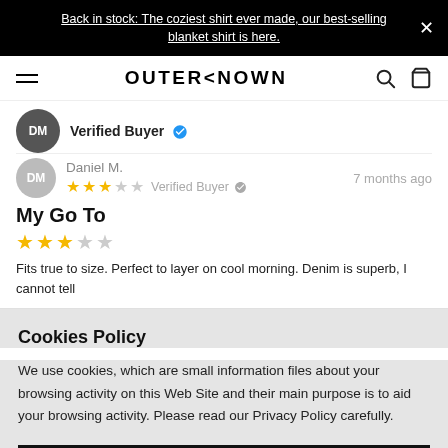Back in stock: The coziest shirt ever made, our best-selling blanket shirt is here.
[Figure (logo): OUTERKNOWN brand logo with hamburger menu, search and bag icons]
Verified Buyer
Daniel M. — 7 months ago, Verified Buyer, 3-star rating
My Go To
Fits true to size. Perfect to layer on cool morning. Denim is superb, I cannot tell
Cookies Policy
We use cookies, which are small information files about your browsing activity on this Web Site and their main purpose is to aid your browsing activity. Please read our Privacy Policy carefully.
Accept Cookies